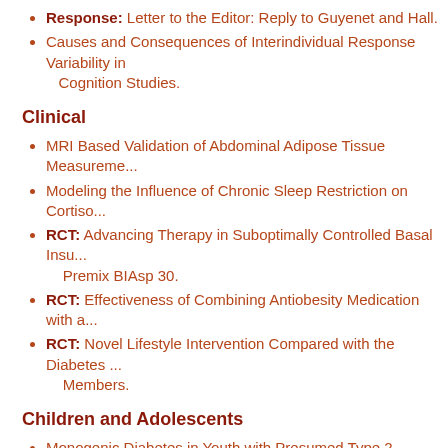Response: Letter to the Editor: Reply to Guyenet and Hall.
Causes and Consequences of Interindividual Response Variability in Cognition Studies.
Clinical
MRI Based Validation of Abdominal Adipose Tissue Measurements…
Modeling the Influence of Chronic Sleep Restriction on Cortisol…
RCT: Advancing Therapy in Suboptimally Controlled Basal Insulin… Premix BIAsp 30.
RCT: Effectiveness of Combining Antiobesity Medication with a…
RCT: Novel Lifestyle Intervention Compared with the Diabetes… Members.
Children and Adolescents
Monogenic Diabetes in Youth with Presumed Type 2 Diabetes:… Collaboration.
Thinness, Overweight, and Obesity Among 6- to 17-Year-Old M… 2015.
Dissertation: Examination of the Efficacy of the Healthy Hunge…